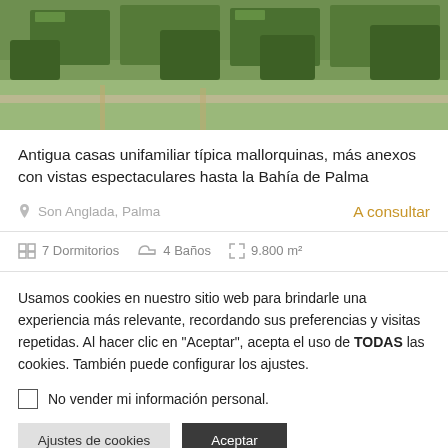[Figure (photo): Aerial or elevated view of a Mallorcan property with garden, hedges, and stone walls seen from above]
Antigua casas unifamiliar típica mallorquinas, más anexos con vistas espectaculares hasta la Bahía de Palma
Son Anglada, Palma
A consultar
7 Dormitorios   4 Baños   9.800 m²
Usamos cookies en nuestro sitio web para brindarle una experiencia más relevante, recordando sus preferencias y visitas repetidas. Al hacer clic en "Aceptar", acepta el uso de TODAS las cookies. También puede configurar los ajustes.
No vender mi información personal.
Ajustes de cookies
Aceptar